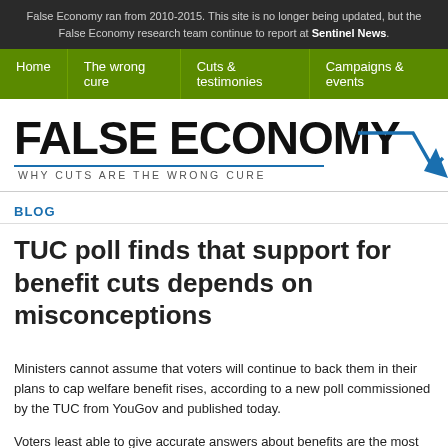False Economy ran from 2010-2015. This site is no longer being updated, but the False Economy research team continue to report at Sentinel News.
Home | The wrong cure | Cuts & testimonies | Campaigns & events
FALSE ECONOMY — WHY CUTS ARE THE WRONG CURE
BLOG
TUC poll finds that support for benefit cuts depends on misconceptions
Ministers cannot assume that voters will continue to back them in their plans to cap welfare benefit rises, according to a new poll commissioned by the TUC from YouGov and published today.
Voters least able to give accurate answers about benefits are the most likely to back the government's policy on cutting benefits.